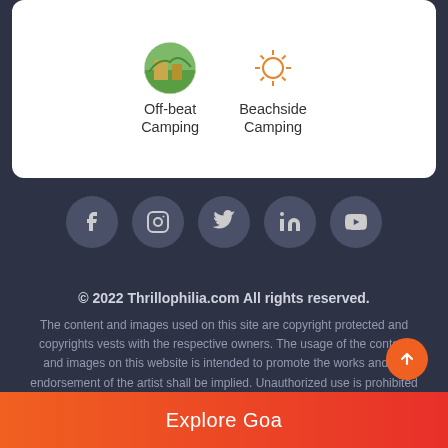[Figure (screenshot): White card with Off-beat Camping and Beachside Camping icons and labels]
[Figure (infographic): Social media icons row: Facebook, Instagram, Twitter, LinkedIn, YouTube]
© 2022 Thrillophilia.com All rights reserved.
The content and images used on this site are copyright protected and copyrights vests with the respective owners. The usage of the content and images on this website is intended to promote the works and no endorsement of the artist shall be implied. Unauthorized use is prohibited and punishable by law.
Explore Goa